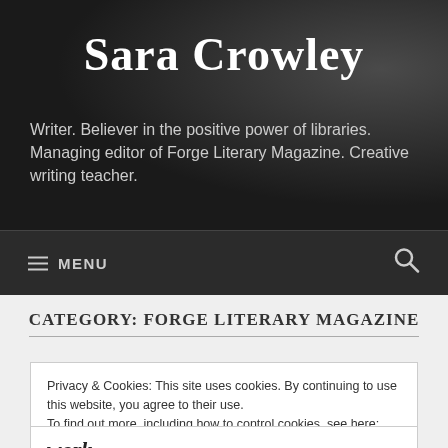Sara Crowley
Writer. Believer in the positive power of libraries. Managing editor of Forge Literary Magazine. Creative writing teacher.
MENU
CATEGORY: FORGE LITERARY MAGAZINE
Privacy & Cookies: This site uses cookies. By continuing to use this website, you agree to their use.
To find out more, including how to control cookies, see here: Cookie Policy
Close and accept
work